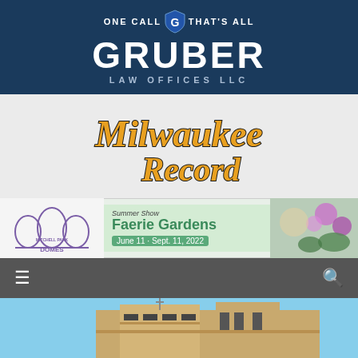[Figure (logo): Gruber Law Offices LLC banner with tagline 'One Call That's All' and shield logo on dark blue background]
[Figure (logo): Milwaukee Record stylized script logo in orange and black on light gray background]
[Figure (other): Mitchell Park Domes advertisement banner: Summer Show Faerie Gardens June 11 - Sept. 11, 2022]
[Figure (screenshot): Navigation bar with hamburger menu icon on left and search icon on right, dark gray background]
[Figure (photo): Photograph of a building exterior with tan/beige concrete facade and blue sky]